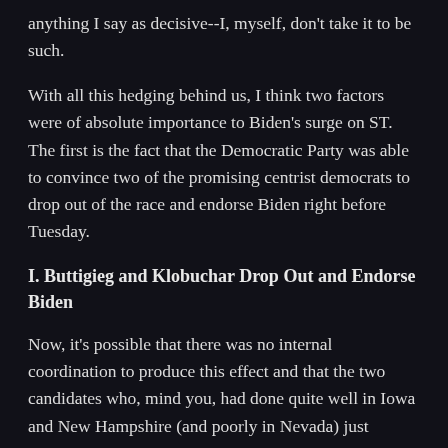anything I say as decisive--I, myself, don't take it to be such.
With all this hedging behind us, I think two factors were of absolute importance to Biden's surge on ST. The first is the fact that the Democratic Party was able to convince two of the promising centrist democrats to drop out of the race and endorse Biden right before Tuesday.
I. Buttigieg and Klobuchar Drop Out and Endorse Biden
Now, it's possible that there was no internal coordination to produce this effect and that the two candidates who, mind you, had done quite well in Iowa and New Hampshire (and poorly in Nevada) just